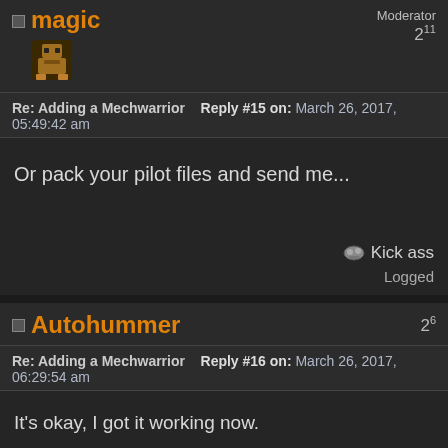magic — Moderator 2^11
Re: Adding a Mechwarrior   Reply #15 on: March 26, 2017, 05:49:42 am
Or pack your pilot files and send me...
Kick ass
Logged
Autohummer — 2^6
Re: Adding a Mechwarrior   Reply #16 on: March 26, 2017, 06:29:54 am
It's okay, I got it working now.

EDIT: I planned to add in Mechwarriors from the MW4 games but I couldn't find the voices, so I added my own